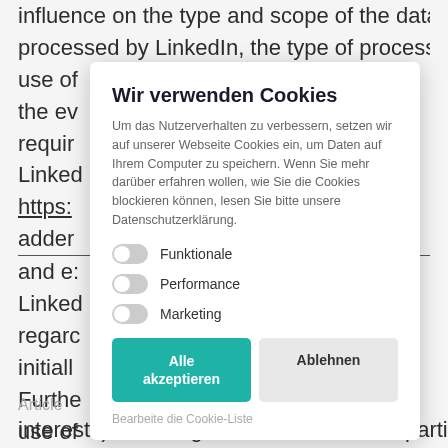influence on the type and scope of the data processed by LinkedIn, the type of processing and use of... In the ev... requir... with LinkedIn https:... r- adder... ils and e... vith LinkedIn regard... n initiall... ally. Furthe... nd use of... n option... https:...
Wir verwenden Cookies
Um das Nutzerverhalten zu verbessern, setzen wir auf unserer Webseite Cookies ein, um Daten auf Ihrem Computer zu speichern. Wenn Sie mehr darüber erfahren wollen, wie Sie die Cookies blockieren können, lesen Sie bitte unsere Datenschutzerklärung.
Funktionale
Performance
Marketing
Alle akzeptieren
Ablehnen
Bearbeite die Cookie-Liste
Article... interests) is the legal basis for Adacor's participation